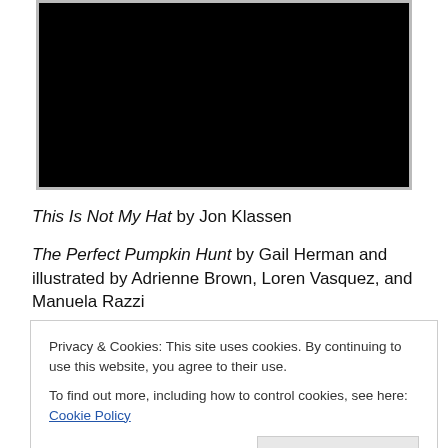[Figure (photo): Black image area representing a book cover photo at top of page]
This Is Not My Hat by Jon Klassen
The Perfect Pumpkin Hunt by Gail Herman and illustrated by Adrienne Brown, Loren Vasquez, and Manuela Razzi
Bad Apple: A Tale Of Friendship by Edward Hemingway
Snowmen At Work by Caralyn Buehner and illustrated by
Privacy & Cookies: This site uses cookies. By continuing to use this website, you agree to their use.
To find out more, including how to control cookies, see here: Cookie Policy
Close and accept
[Figure (photo): Partial book cover image at the bottom of the page]